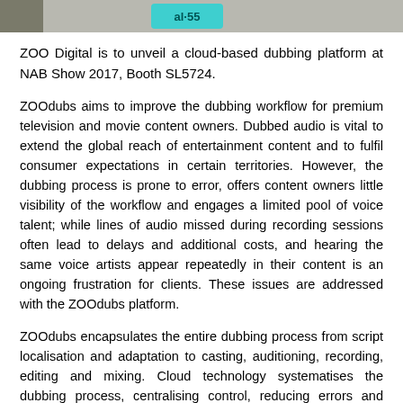[Figure (photo): Partial image strip at top of page showing a teal/cyan colored badge or sign with partial text, against a grey background, with a darker section on the left.]
ZOO Digital is to unveil a cloud-based dubbing platform at NAB Show 2017, Booth SL5724.
ZOOdubs aims to improve the dubbing workflow for premium television and movie content owners. Dubbed audio is vital to extend the global reach of entertainment content and to fulfil consumer expectations in certain territories. However, the dubbing process is prone to error, offers content owners little visibility of the workflow and engages a limited pool of voice talent; while lines of audio missed during recording sessions often lead to delays and additional costs, and hearing the same voice artists appear repeatedly in their content is an ongoing frustration for clients. These issues are addressed with the ZOOdubs platform.
ZOOdubs encapsulates the entire dubbing process from script localisation and adaptation to casting, auditioning, recording, editing and mixing. Cloud technology systematises the dubbing process, centralising control, reducing errors and making it easier to manage the end-to-end workflow. Content owners have greater visibility of the